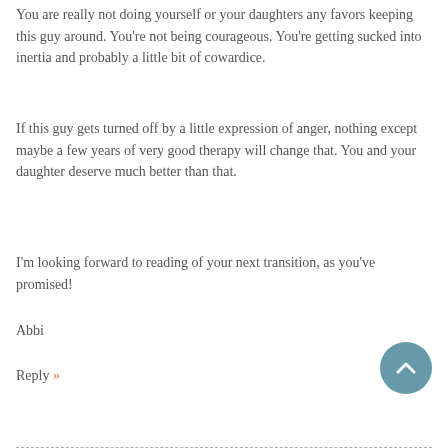You are really not doing yourself or your daughters any favors keeping this guy around. You're not being courageous. You're getting sucked into inertia and probably a little bit of cowardice.
If this guy gets turned off by a little expression of anger, nothing except maybe a few years of very good therapy will change that. You and your daughter deserve much better than that.
I'm looking forward to reading of your next transition, as you've promised!
Abbi
Reply »